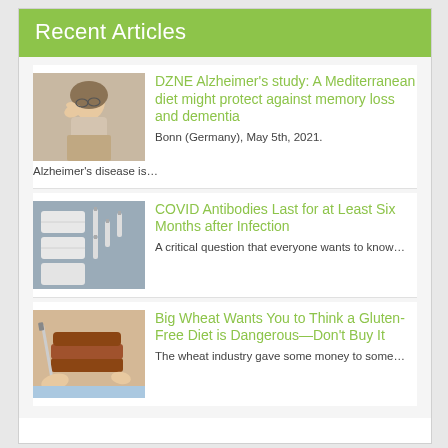Recent Articles
DZNE Alzheimer's study: A Mediterranean diet might protect against memory loss and dementia
Bonn (Germany), May 5th, 2021.
Alzheimer's disease is...
COVID Antibodies Last for at Least Six Months after Infection
A critical question that everyone wants to know...
Big Wheat Wants You to Think a Gluten-Free Diet is Dangerous—Don't Buy It
The wheat industry gave some money to some...